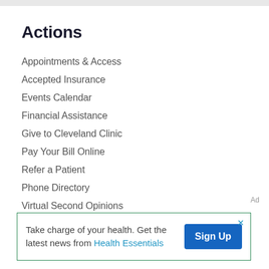Actions
Appointments & Access
Accepted Insurance
Events Calendar
Financial Assistance
Give to Cleveland Clinic
Pay Your Bill Online
Refer a Patient
Phone Directory
Virtual Second Opinions
Virtual Visits (partially visible)
Ad
Take charge of your health. Get the latest news from Health Essentials  Sign Up